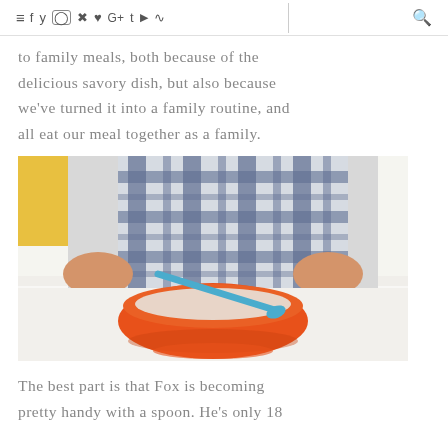≡ f y ○ ⊛ ♥ G+ t ▶ ))) | 🔍
to family meals, both because of the delicious savory dish, but also because we've turned it into a family routine, and all eat our meal together as a family.
[Figure (photo): Young child in a blue and white plaid shirt sitting at a table with an orange bowl containing soup/food and a blue spoon.]
The best part is that Fox is becoming pretty handy with a spoon. He's only 18